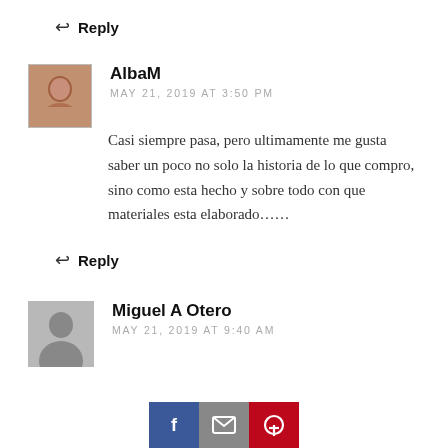↩ Reply
[Figure (photo): Avatar photo of AlbaM commenter — a small square photo showing a person]
AlbaM
MAY 21, 2019 AT 3:50 PM
Casi siempre pasa, pero ultimamente me gusta saber un poco no solo la historia de lo que compro, sino como esta hecho y sobre todo con que materiales esta elaborado......
↩ Reply
[Figure (photo): Avatar placeholder silhouette for Miguel A Otero commenter — gray square with person icon]
Miguel A Otero
MAY 21, 2019 AT 9:40 AM
[Figure (infographic): Social share bar with three buttons: Facebook (blue), Email (gray), Pinterest (red)]